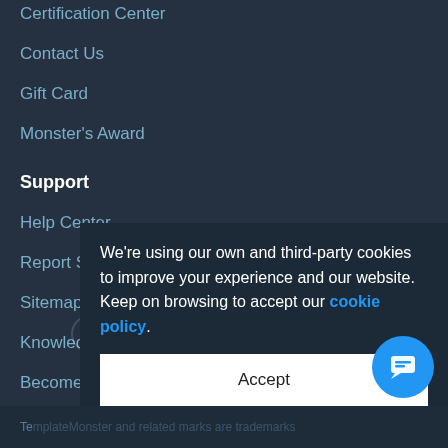Certification Center
Contact Us
Gift Card
Monster's Award
Support
Help Center
Report Spam
Sitemap
Knowledgebase
Become an author
Refund Policy
We're using our own and third-party cookies to improve your experience and our website. Keep on browsing to accept our cookie policy.
Accept
TemplateMonster